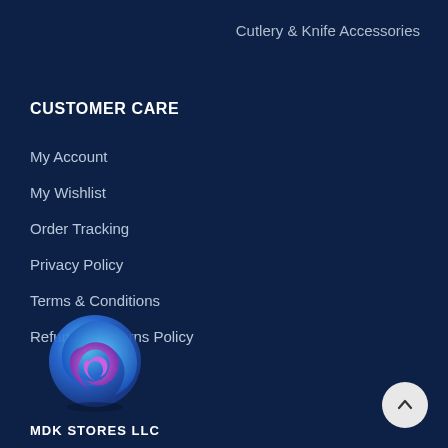Cutlery & Knife Accessories
CUSTOMER CARE
My Account
My Wishlist
Order Tracking
Privacy Policy
Terms & Conditions
Refund & Returns Policy
[Figure (logo): MDK Stores LLC logo — a swirling sphere in blue and purple/pink gradient tones]
MDK STORES LLC